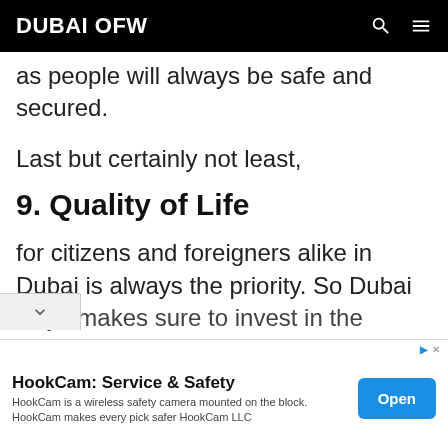DUBAI OFW
as people will always be safe and secured.
Last but certainly not least,
9. Quality of Life
for citizens and foreigners alike in Dubai is always the priority. So Dubai always makes sure to invest in the
[Figure (screenshot): Advertisement banner for HookCam: Service & Safety — HookCam is a wireless safety camera mounted on the block. HookCam makes every pick safer HookCam LLC — with an Open button]